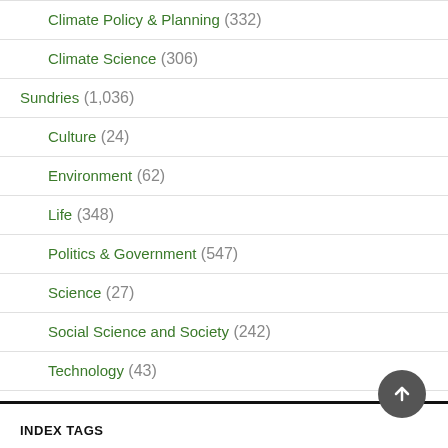Climate Policy & Planning (332)
Climate Science (306)
Sundries (1,036)
Culture (24)
Environment (62)
Life (348)
Politics & Government (547)
Science (27)
Social Science and Society (242)
Technology (43)
INDEX TAGS